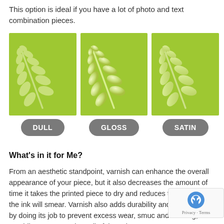This option is ideal if you have a lot of photo and text combination pieces.
[Figure (illustration): Three side-by-side green square images each showing a white leaf/branch illustration, representing three different varnish finishes: Dull, Gloss, and Satin. The Dull leaf appears flat/matte, the Gloss leaf has a bright highlight, and the Satin leaf has a softer sheen.]
DULL    GLOSS    SATIN
What's in it for Me?
From an aesthetic standpoint, varnish can enhance the overall appearance of your piece, but it also decreases the amount of time it takes the printed piece to dry and reduces the chance that the ink will smear. Varnish also adds durability and s to a piece by doing its job to prevent excess wear, smuc and scuffing, and providing UV protection. All of these b